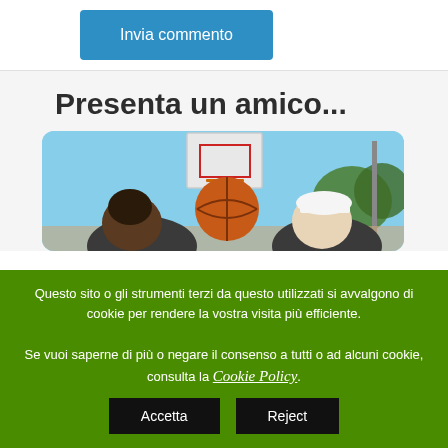Invia commento
Presenta un amico...
[Figure (photo): Two young people with a basketball on an outdoor court with a basketball hoop visible in the background]
Questo sito o gli strumenti terzi da questo utilizzati si avvalgono di cookie per rendere la vostra visita più efficiente. Se vuoi saperne di più o negare il consenso a tutti o ad alcuni cookie, consulta la Cookie Policy.
Accetta
Reject